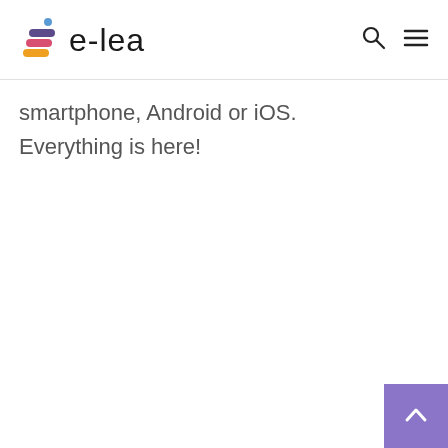e-lea
smartphone, Android or iOS. Everything is here!
[Figure (logo): Back to top button with upward arrow, purple background]